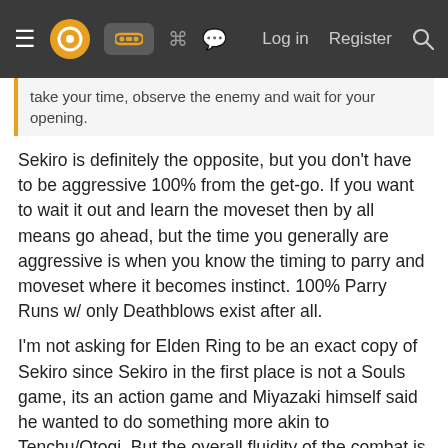Navigation bar with menu, logo, gamepad icon, grid icon, chat icon, Log in, Register, Search
take your time, observe the enemy and wait for your opening.
Sekiro is definitely the opposite, but you don't have to be aggressive 100% from the get-go. If you want to wait it out and learn the moveset then by all means go ahead, but the time you generally are aggressive is when you know the timing to parry and moveset where it becomes instinct. 100% Parry Runs w/ only Deathblows exist after all.
I'm not asking for Elden Ring to be an exact copy of Sekiro since Sekiro in the first place is not a Souls game, its an action game and Miyazaki himself said he wanted to do something more akin to Tenchu/Otogi. But the overall fluidity of the combat is extremely good and I need that to carry over.
Daijii44
Lucifers Beard